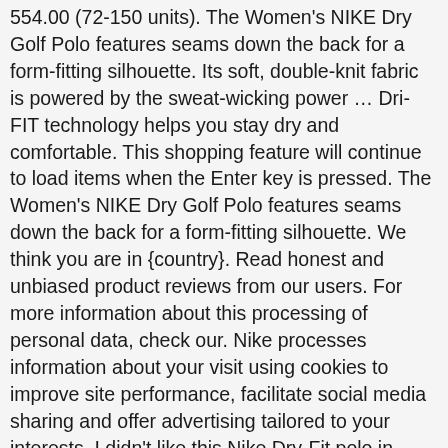554.00 (72-150 units). The Women's NIKE Dry Golf Polo features seams down the back for a form-fitting silhouette. Its soft, double-knit fabric is powered by the sweat-wicking power … Dri-FIT technology helps you stay dry and comfortable. This shopping feature will continue to load items when the Enter key is pressed. The Women's NIKE Dry Golf Polo features seams down the back for a form-fitting silhouette. We think you are in {country}. Read honest and unbiased product reviews from our users. For more information about this processing of personal data, check our. Nike processes information about your visit using cookies to improve site performance, facilitate social media sharing and offer advertising tailored to your interests. I didn't like this Nike Dry-Fit polo in white. Its soft, double-knit fabric is powered by the sweat-wicking power of Dri-FIT Technology to help you stay dry and comfortable. This product is made with 100% recycled polyester fabric. Advertising cookies (of third parties) collect information to help better tailor advertising to your interests, both within